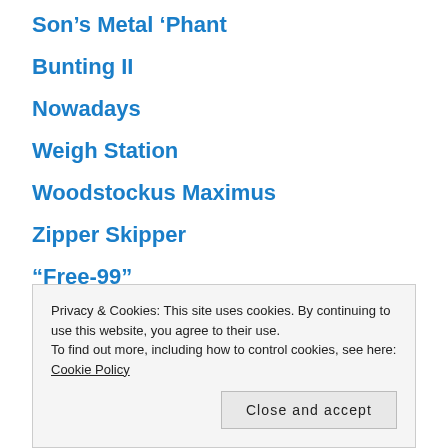Son’s Metal ‘Phant
Bunting II
Nowadays
Weigh Station
Woodstockus Maximus
Zipper Skipper
“Free-99”
That ‘Without Our Knowledge’ Bit
Privacy & Cookies: This site uses cookies. By continuing to use this website, you agree to their use.
To find out more, including how to control cookies, see here: Cookie Policy